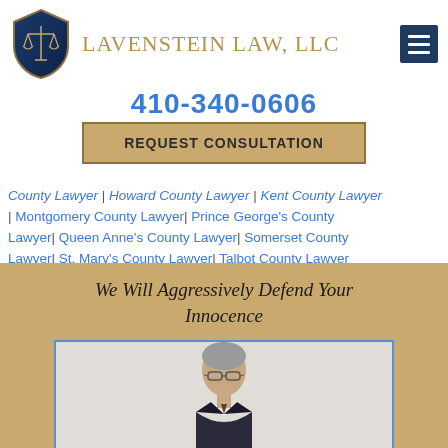[Figure (logo): Lavenstein Law LLC logo with blue shield containing scales of justice and tan/gold text reading LAVENSTEIN LAW, LLC]
[Figure (other): Dark blue hamburger menu button with three horizontal white lines]
410-340-0606
REQUEST CONSULTATION
County Lawyer | Howard County Lawyer | Kent County Lawyer | Montgomery County Lawyer | Prince George's County Lawyer | Queen Anne's County Lawyer | Somerset County Lawyer | St. Mary's County Lawyer | Talbot County Lawyer | Washington County Lawyer | Wicomico County Lawyer
We Will Aggressively Defend Your Innocence
[Figure (photo): Photo of an older man with grey hair wearing glasses and a dark suit, against a light background]